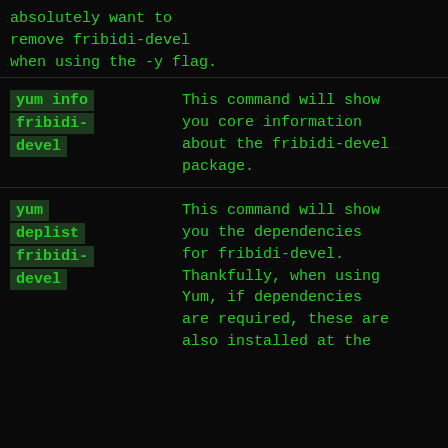absolutely want to remove fribidi-devel when using the -y flag.
| Command | Description |
| --- | --- |
| yum info fribidi-devel | This command will show you core information about the fribidi-devel package. |
| yum deplist fribidi-devel | This command will show you the dependencies for fribidi-devel. Thankfully, when using Yum, if dependencies are required, these are also installed at the |